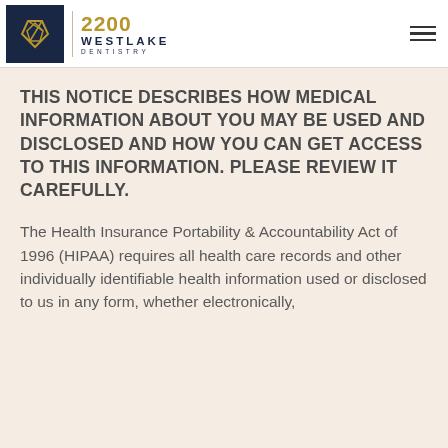2200 WESTLAKE DENTISTRY
THIS NOTICE DESCRIBES HOW MEDICAL INFORMATION ABOUT YOU MAY BE USED AND DISCLOSED AND HOW YOU CAN GET ACCESS TO THIS INFORMATION. PLEASE REVIEW IT CAREFULLY.
The Health Insurance Portability & Accountability Act of 1996 (HIPAA) requires all health care records and other individually identifiable health information used or disclosed to us in any form, whether electronically,